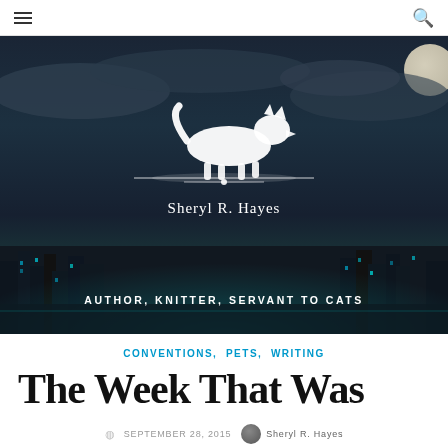☰  [search icon]
[Figure (illustration): Dark fantasy cityscape hero banner with a white wolf logo for Sheryl R. Hayes, tagline: AUTHOR, KNITTER, SERVANT TO CATS]
CONVENTIONS, PETS, WRITING
The Week That Was
SEPTEMBER 28, 2015   Sheryl R. Hayes